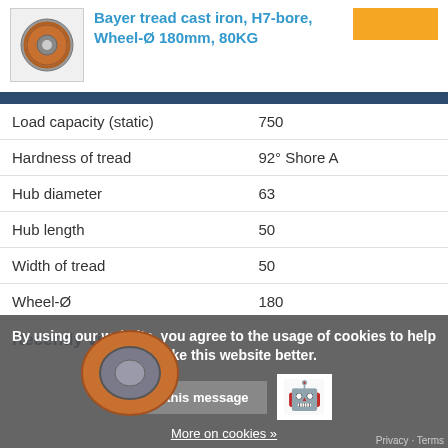[Figure (photo): Industrial wheel/caster product photo - polyurethane tread cast iron wheel]
Bayer tread cast iron, H7-bore, Wheel-Ø 180mm, 80KG
|  |  |
| --- | --- |
| Load capacity (static) | 750 |
| Hardness of tread | 92° Shore A |
| Hub diameter | 63 |
| Hub length | 50 |
| Width of tread | 50 |
| Wheel-Ø | 180 |
Recently viewed
By using our website, you agree to the usage of cookies to help us make this website better.
Hide this message
More on cookies »